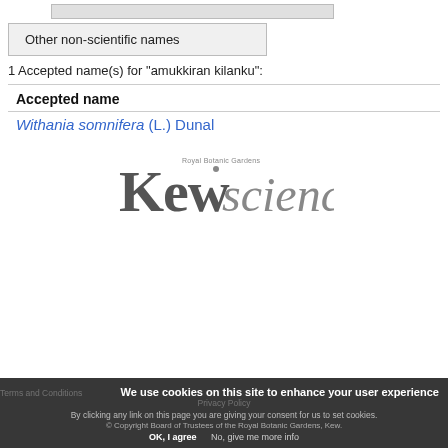| Other non-scientific names |
| --- |
1 Accepted name(s) for "amukkiran kilanku":
Accepted name
Withania somnifera (L.) Dunal
[Figure (logo): Royal Botanic Gardens Kew Science logo]
We use cookies on this site to enhance your user experience
Terms and Conditions  Privacy Policy
By clicking any link on this page you are giving your consent for us to set cookies.
© Copyright Board of Trustees of the Royal Botanic Gardens, Kew.
OK, I agree   No, give me more info